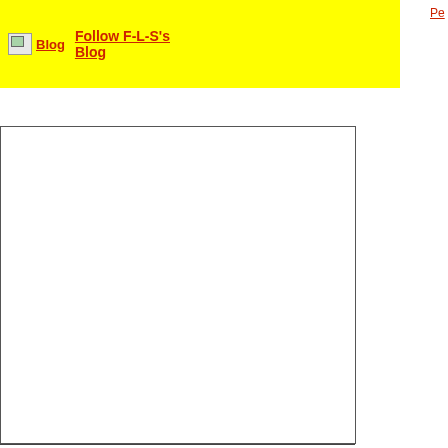Blog  Follow F-L-S's Blog
Pe...
[Figure (other): Left navigation panel - white box with border]
AT THE HOTEL - AL H...
Al hotel (image link)
Wh... ob... Ho... Ho...
AT THE RESTAURANT...
Restaurante (image link)
Th... Le... co... Re... Re... Re...
AT THE BEACH - A LA...
La Playa (image link)
Th... su... the... Be... Be...